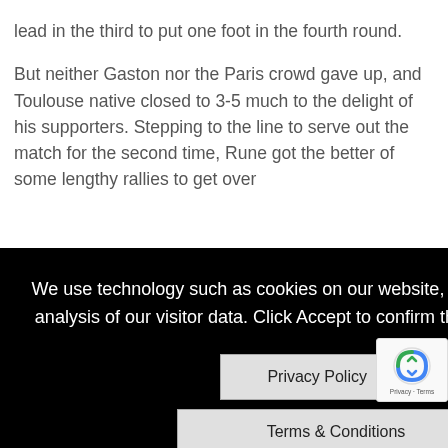lead in the third to put one foot in the fourth round.
But neither Gaston nor the Paris crowd gave up, and Toulouse native closed to 3-5 much to the delight of his supporters. Stepping to the line to serve out the match for the second time, Rune got the better of some lengthy rallies to get over the line.
2003 ...nd ...over
We use technology such as cookies on our website, to provide functions and analysis of our visitor data. Click Accept to confirm that you agree to its use.
Privacy Policy | Terms & Conditions
ACCEPT
(s) May
Both men eclipsed 30 winners, with Rune